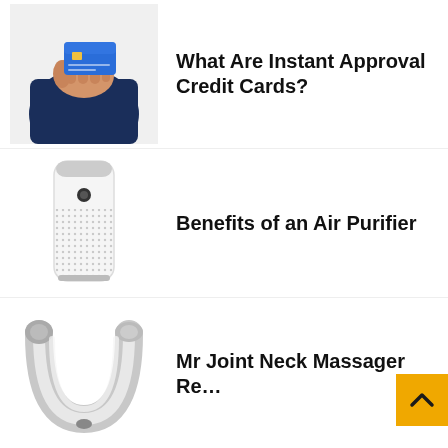[Figure (photo): Person in navy suit holding a blue credit card]
What Are Instant Approval Credit Cards?
[Figure (photo): White tower air purifier with dotted mesh exterior]
Benefits of an Air Purifier
[Figure (photo): Silver U-shaped neck massager device]
Mr Joint Neck Massager Re…